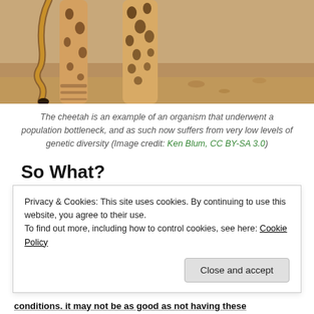[Figure (photo): Close-up photo of cheetah legs and lower body walking on sandy/rocky ground. Shows spotted pattern on legs and striped tail.]
The cheetah is an example of an organism that underwent a population bottleneck, and as such now suffers from very low levels of genetic diversity (Image credit: Ken Blum, CC BY-SA 3.0)
So What?
Extra mediocre text goes to fast to conditions. it may not be as good as not having these...